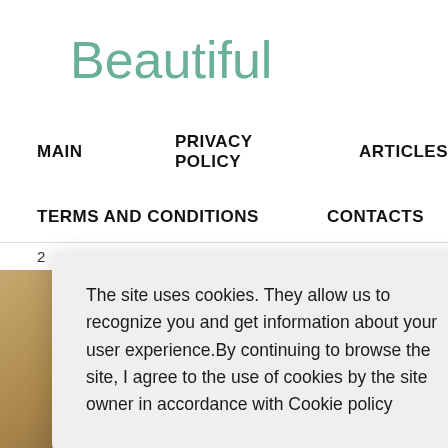Beautiful
MAIN   PRIVACY POLICY   ARTICLES
TERMS AND CONDITIONS   CONTACTS
2
[Figure (photo): Background photo with warm golden/beige tones on the left and soft pink flowers on the right]
The site uses cookies. They allow us to recognize you and get information about your user experience.By continuing to browse the site, I agree to the use of cookies by the site owner in accordance with Cookie policy